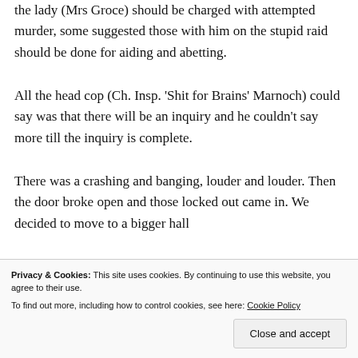the lady (Mrs Groce) should be charged with attempted murder, some suggested those with him on the stupid raid should be done for aiding and abetting.
All the head cop (Ch. Insp. 'Shit for Brains' Marnoch) could say was that there will be an inquiry and he couldn't say more till the inquiry is complete.
There was a crashing and banging, louder and louder. Then the door broke open and those locked out came in. We decided to move to a bigger hall
Privacy & Cookies: This site uses cookies. By continuing to use this website, you agree to their use. To find out more, including how to control cookies, see here: Cookie Policy
Close and accept